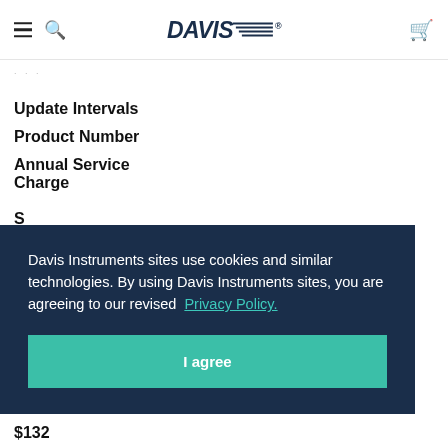Davis Instruments — Navigation header with menu, search, logo, and cart icons
Update Intervals
Product Number
Annual Service Charge
Davis Instruments sites use cookies and similar technologies. By using Davis Instruments sites, you are agreeing to our revised Privacy Policy. I agree
$132